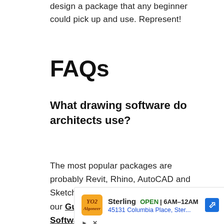design a package that any beginner could pick up and use. Represent!
FAQs
What drawing software do architects use?
The most popular packages are probably Revit, Rhino, AutoCAD and SketchUp, but there are lots more – our Guide to the Best Architecture Software and Programs has
[Figure (infographic): Advertisement box for Sterling showing OPEN 6AM-12AM, 45131 Columbia Place, Ster..., with orange logo, blue directional arrow icon, and ad controls (play and close buttons)]